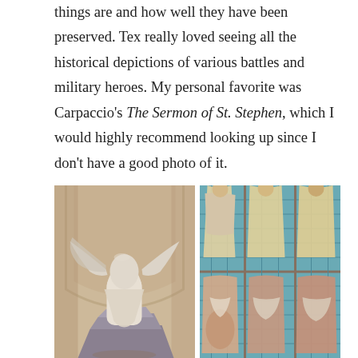things are and how well they have been preserved. Tex really loved seeing all the historical depictions of various battles and military heroes. My personal favorite was Carpaccio's The Sermon of St. Stephen, which I would highly recommend looking up since I don't have a good photo of it.
[Figure (photo): Two side-by-side museum photos. Left: the Winged Victory of Samothrace statue on a stone ship prow pedestal in an arched alcove with warm beige walls. Right: Ancient mosaic tile panels showing figures of archers/soldiers in decorative robes on a teal/turquoise tiled background.]